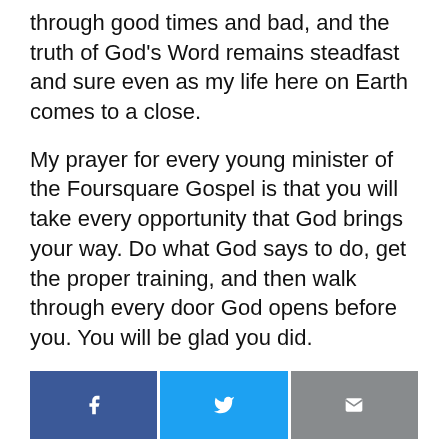through good times and bad, and the truth of God's Word remains steadfast and sure even as my life here on Earth comes to a close.
My prayer for every young minister of the Foursquare Gospel is that you will take every opportunity that God brings your way. Do what God says to do, get the proper training, and then walk through every door God opens before you. You will be glad you did.
[Figure (other): Three social share buttons: Facebook (dark blue with f icon), Twitter (light blue with bird icon), Email (gray with envelope icon)]
aimee semple mcpherson, angelus temple, foursquare history, women in leadership